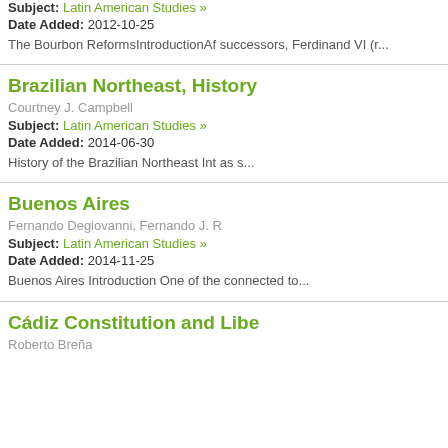Subject: Latin American Studies »
Date Added: 2012-10-25
The Bourbon ReformsIntroductionAf successors, Ferdinand VI (r...
Brazilian Northeast, History
Courtney J. Campbell
Subject: Latin American Studies »
Date Added: 2014-06-30
History of the Brazilian Northeast Int as s...
Buenos Aires
Fernando Degiovanni, Fernando J. R
Subject: Latin American Studies »
Date Added: 2014-11-25
Buenos Aires Introduction One of the connected to...
Cádiz Constitution and Libe
Roberto Breña